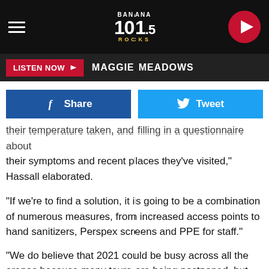[Figure (screenshot): Banana 101.5 Rocks radio station navigation bar with hamburger menu icon on left, logo in center, and red play button on right]
LISTEN NOW ▶  MAGGIE MEADOWS
[Figure (infographic): Facebook Share button (blue) and Twitter Tweet button (light blue) side by side]
their temperature taken, and filling in a questionnaire about their symptoms and recent places they've visited," Hassall elaborated.
"If we're to find a solution, it is going to be a combination of numerous measures, from increased access points to hand sanitizers, Perspex screens and PPE for staff."
"We do believe that 2021 could be busy across all the arenas because many tours are being postponed, but this doesn't help our situation now where there is absolutely no income to our venues," added Lucy Noble of the